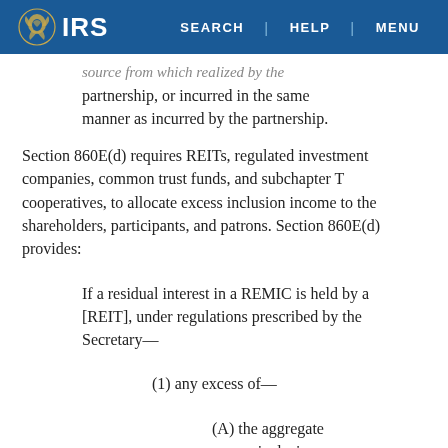IRS | SEARCH | HELP | MENU
source from which realized by the partnership, or incurred in the same manner as incurred by the partnership.
Section 860E(d) requires REITs, regulated investment companies, common trust funds, and subchapter T cooperatives, to allocate excess inclusion income to the shareholders, participants, and patrons. Section 860E(d) provides:
If a residual interest in a REMIC is held by a [REIT], under regulations prescribed by the Secretary—
(1) any excess of—
(A) the aggregate excess inclusions